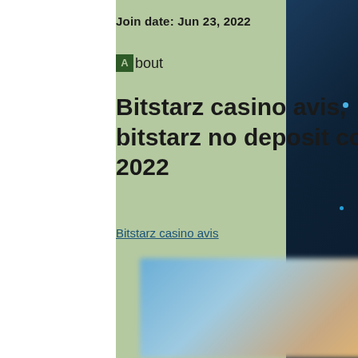Join date: Jun 23, 2022
About
Bitstarz casino avis, bitstarz no deposit codes 2022
Bitstarz casino avis
[Figure (photo): Blurred screenshot of an online casino interface showing game thumbnails]